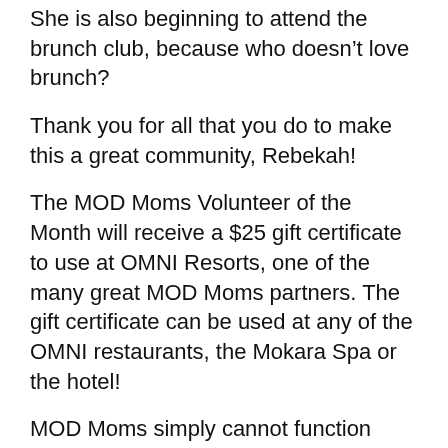She is also beginning to attend the brunch club, because who doesn't love brunch?
Thank you for all that you do to make this a great community, Rebekah!
The MOD Moms Volunteer of the Month will receive a $25 gift certificate to use at OMNI Resorts, one of the many great MOD Moms partners. The gift certificate can be used at any of the OMNI restaurants, the Mokara Spa or the hotel!
MOD Moms simply cannot function without all of the dedicated, hard-working volunteers who make the events, clubs, playgroups, partnerships and behind-the-scenes stuff happen. Thank you to all of you fantastic women who help make this